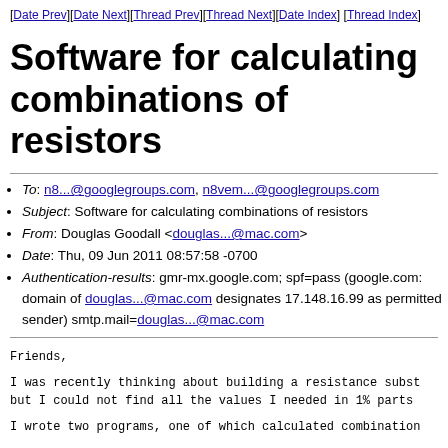[Date Prev][Date Next][Thread Prev][Thread Next][Date Index][Thread Index]
Software for calculating combinations of resistors
To: n8...@googlegroups.com, n8vem...@googlegroups.com
Subject: Software for calculating combinations of resistors
From: Douglas Goodall <douglas...@mac.com>
Date: Thu, 09 Jun 2011 08:57:58 -0700
Authentication-results: gmr-mx.google.com; spf=pass (google.com: domain of douglas...@mac.com designates 17.148.16.99 as permitted sender) smtp.mail=douglas...@mac.com
Friends,
I was recently thinking about building a resistance subst but I could not find all the values I needed in 1% parts
I wrote two programs, one of which calculated combination